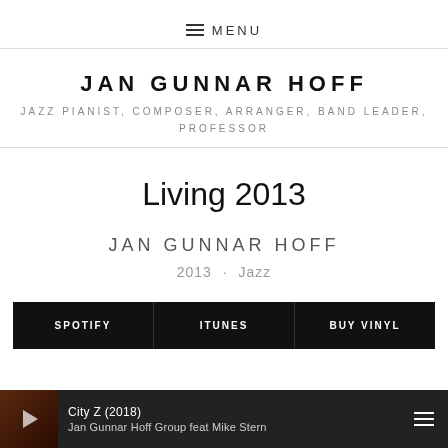≡ MENU
JAN GUNNAR HOFF
JAZZ PIANIST, COMPOSER, ARRANGER, BAND LEADER, PROFESSOR
Living 2013
JAN GUNNAR HOFF
2013 · Jazz
SPOTIFY   ITUNES   BUY VINYL
City Z (2018)
Jan Gunnar Hoff Group feat Mike Stern